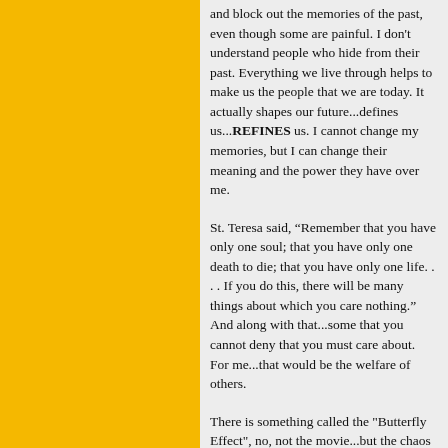and block out the memories of the past, even though some are painful. I don't understand people who hide from their past. Everything we live through helps to make us the people that we are today. It actually shapes our future...defines us...REFINES us. I cannot change my memories, but I can change their meaning and the power they have over me.
St. Teresa said, “Remember that you have only one soul; that you have only one death to die; that you have only one life. . . . If you do this, there will be many things about which you care nothing.” And along with that...some that you cannot deny that you must care about. For me...that would be the welfare of others.
There is something called the "Butterfly Effect", no, not the movie...but the chaos theory , e.g. a butterfly flapping its wings in South America can affect the